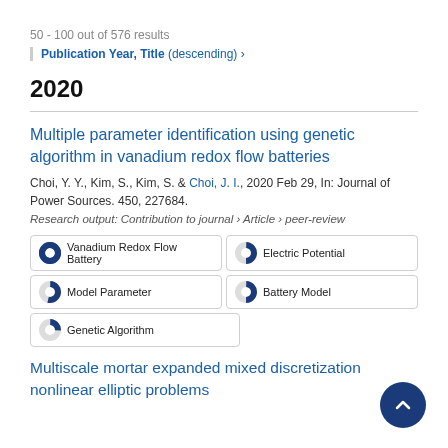50 - 100 out of 576 results
Publication Year, Title (descending) ›
2020
Multiple parameter identification using genetic algorithm in vanadium redox flow batteries
Choi, Y. Y., Kim, S., Kim, S. & Choi, J. I., 2020 Feb 29, In: Journal of Power Sources. 450, 227684.
Research output: Contribution to journal › Article › peer-review
Vanadium Redox Flow Battery
Electric Potential
Model Parameter
Battery Model
Genetic Algorithm
Multiscale mortar expanded mixed discretization nonlinear elliptic problems